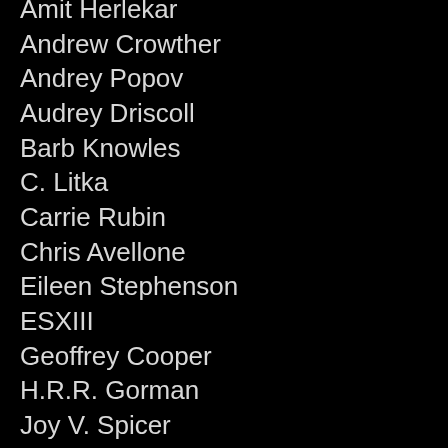Amit Herlekar
Andrew Crowther
Andrey Popov
Audrey Driscoll
Barb Knowles
C. Litka
Carrie Rubin
Chris Avellone
Eileen Stephenson
ESXIII
Geoffrey Cooper
H.R.R. Gorman
Joy V. Spicer
Katie Dawn
Lorinda Taylor
Lydia Schoch
Mark Paxson
Noah Goats